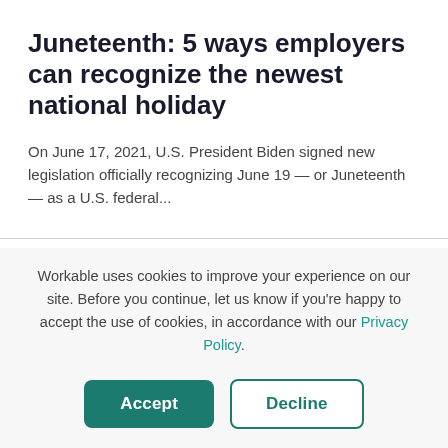Juneteenth: 5 ways employers can recognize the newest national holiday
On June 17, 2021, U.S. President Biden signed new legislation officially recognizing June 19 — or Juneteenth — as a U.S. federal...
Workable uses cookies to improve your experience on our site. Before you continue, let us know if you're happy to accept the use of cookies, in accordance with our Privacy Policy.